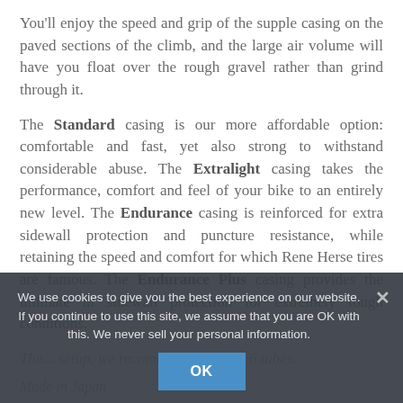You'll enjoy the speed and grip of the supple casing on the paved sections of the climb, and the large air volume will have you float over the rough gravel rather than grind through it.
The Standard casing is our more affordable option: comfortable and fast, yet also strong to withstand considerable abuse. The Extralight casing takes the performance, comfort and feel of your bike to an entirely new level. The Endurance casing is reinforced for extra sidewall protection and puncture resistance, while retaining the speed and comfort for which Rene Herse tires are famous. The Endurance Plus casing provides the ultimate in sidewall protection for extremely tough conditions.
The... [partially obscured text about setup and tubes] ...SVL6 tubes.
Made in Japan
We use cookies to give you the best experience on our website. If you continue to use this site, we assume that you are OK with this. We never sell your personal information.